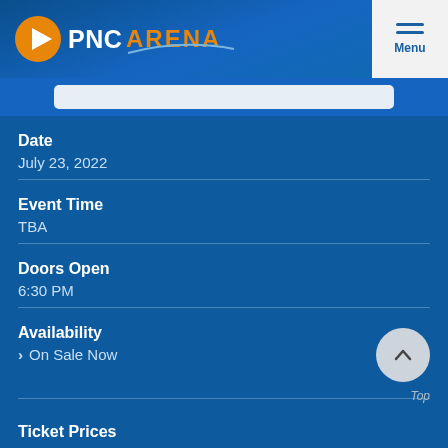PNC Arena
Date
July 23, 2022
Event Time
TBA
Doors Open
6:30 PM
Availability
> On Sale Now
Ticket Prices